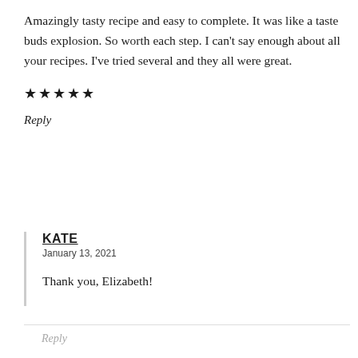Amazingly tasty recipe and easy to complete. It was like a taste buds explosion. So worth each step. I can't say enough about all your recipes. I've tried several and they all were great.
★★★★★
Reply
KATE
January 13, 2021
Thank you, Elizabeth!
Reply